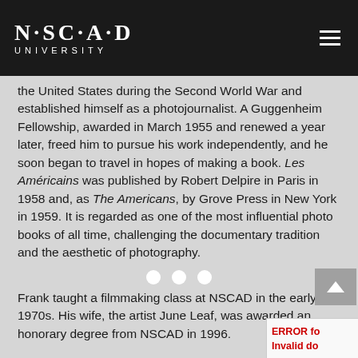NSCAD UNIVERSITY
the United States during the Second World War and established himself as a photojournalist. A Guggenheim Fellowship, awarded in March 1955 and renewed a year later, freed him to pursue his work independently, and he soon began to travel in hopes of making a book. Les Américains was published by Robert Delpire in Paris in 1958 and, as The Americans, by Grove Press in New York in 1959. It is regarded as one of the most influential photo books of all time, challenging the documentary tradition and the aesthetic of photography.
Frank taught a filmmaking class at NSCAD in the early 1970s. His wife, the artist June Leaf, was awarded an honorary degree from NSCAD in 1996.
Steidl may be as legendary in the field of publishing as Frank is in photography. He began working as a designer and printer in the 1960s, starting out printing posters for art exhibitions. He is known for his personal attention to each book, from choosing the paper to